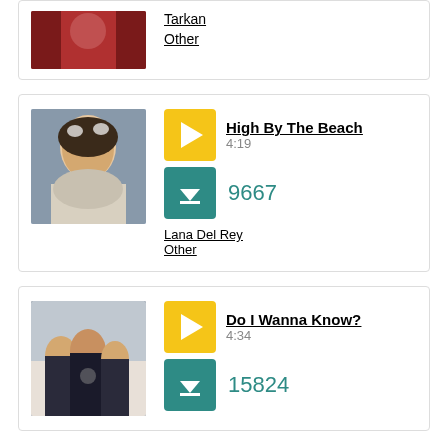[Figure (photo): Partial view of artist photo at top of page (red/dark background, cropped)]
Tarkan
Other
[Figure (photo): Photo of Lana Del Rey with flowers in hair, smiling]
High By The Beach
4:19
9667
Lana Del Rey
Other
[Figure (photo): Photo of group of people (band), three individuals standing together]
Do I Wanna Know?
4:34
15824